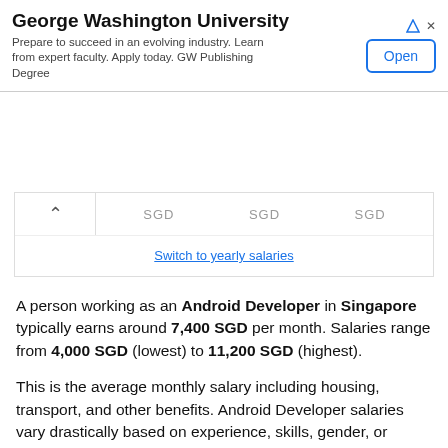[Figure (screenshot): Advertisement banner for George Washington University with 'Open' button and ad icons]
| SGD | SGD | SGD |
| --- | --- | --- |
Switch to yearly salaries
A person working as an Android Developer in Singapore typically earns around 7,400 SGD per month. Salaries range from 4,000 SGD (lowest) to 11,200 SGD (highest).
This is the average monthly salary including housing, transport, and other benefits. Android Developer salaries vary drastically based on experience, skills, gender, or location. Below you will find a detailed breakdown based on many different criteria.